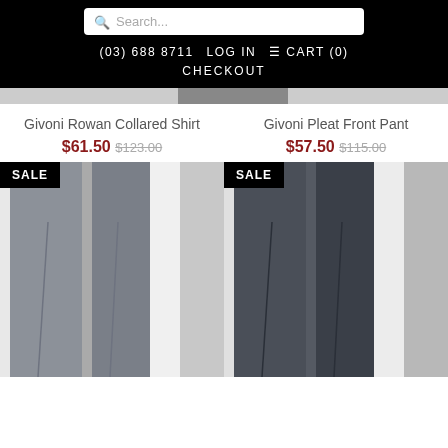Search... | (03) 688 8711 | LOG IN | CART (0) | CHECKOUT
Givoni Rowan Collared Shirt
$61.50 $123.00
[Figure (photo): Grey pants on hanger with SALE badge]
Givoni Pleat Front Pant
$57.50 $115.00
[Figure (photo): Dark charcoal pants on hanger with SALE badge]